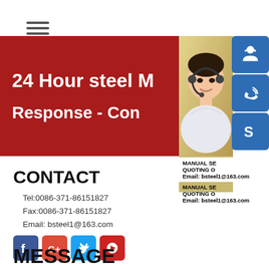[Figure (screenshot): Hamburger menu icon with three horizontal lines]
24 Hour steel M
Response - Con
[Figure (photo): Customer service representative / contact center photo with blue icon buttons for headset, phone, and Skype]
MANUAL SE
QUOTING O
Email: bsteel1@163.com
CONTACT
Tel:0086-371-86151827
Fax:0086-371-86151827
Email: bsteel1@163.com
[Figure (logo): Social media icons: Facebook, Google+, Twitter, YouTube]
MESSAGE